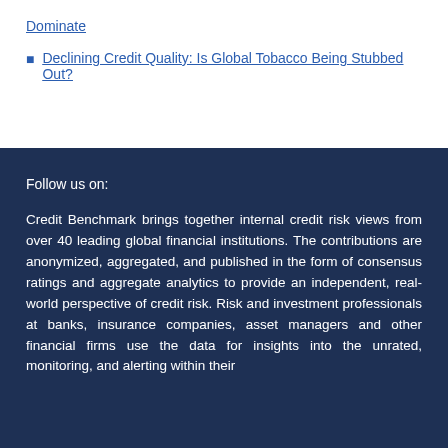Dominate
Declining Credit Quality: Is Global Tobacco Being Stubbed Out?
Follow us on:
Credit Benchmark brings together internal credit risk views from over 40 leading global financial institutions. The contributions are anonymized, aggregated, and published in the form of consensus ratings and aggregate analytics to provide an independent, real-world perspective of credit risk. Risk and investment professionals at banks, insurance companies, asset managers and other financial firms use the data for insights into the unrated, monitoring, and alerting within their